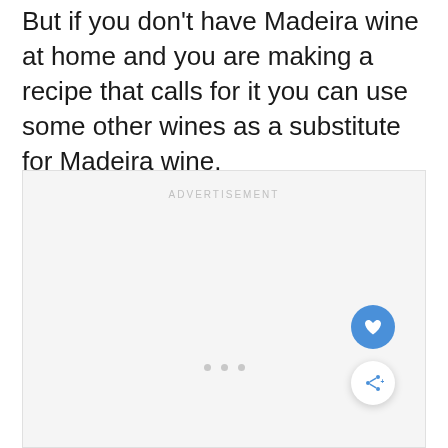But if you don't have Madeira wine at home and you are making a recipe that calls for it you can use some other wines as a substitute for Madeira wine.
[Figure (other): Advertisement placeholder box with 'ADVERTISEMENT' label, three dots at bottom, a blue heart button, and a white share button in the lower right corner.]